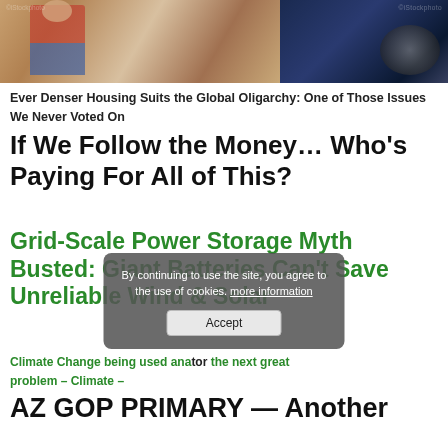[Figure (photo): Photo of a delivery person in red vest holding packages next to a dark vehicle, watermarked stock photo]
Ever Denser Housing Suits the Global Oligarchy: One of Those Issues We Never Voted On
If We Follow the Money… Who's Paying For All of This?
Grid-Scale Power Storage Myth Busted: Giant Batteries Can't Save Unreliable Wind & Solar
Climate Change being used ana tor the next great problem – Climate...
AZ GOP PRIMARY — Another